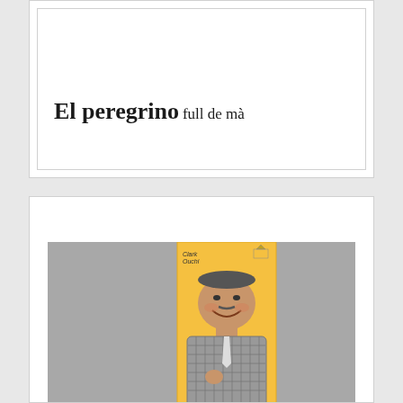El peregrino
full de mà
[Figure (photo): A vintage movie film card/flyer on a yellow background showing a smiling heavyset man in a checkered jacket. Small text and logo visible at top of card. The card is displayed against a grey background.]